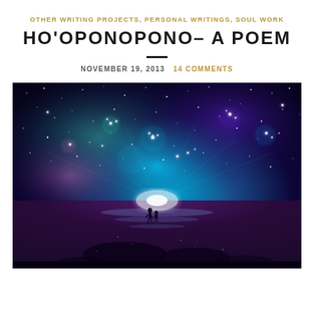OTHER WRITING PROJECTS, PERSONAL WRITINGS, SOUL WORK
HO'OPONOPONO- A POEM
NOVEMBER 19, 2013   14 COMMENTS
[Figure (illustration): Fantasy digital art image showing two small figures standing on a reflective surface under a vast, vivid night sky filled with nebulae, stars, and cosmic light in shades of blue, purple, teal, and pink.]